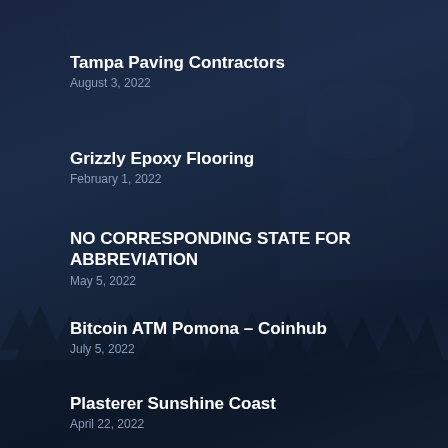Tampa Paving Contractors
August 3, 2022
Grizzly Epoxy Flooring
February 1, 2022
NO CORRESPONDING STATE FOR ABBREVIATION
May 5, 2022
Bitcoin ATM Pomona – Coinhub
July 5, 2022
Plasterer Sunshine Coast
April 22, 2022